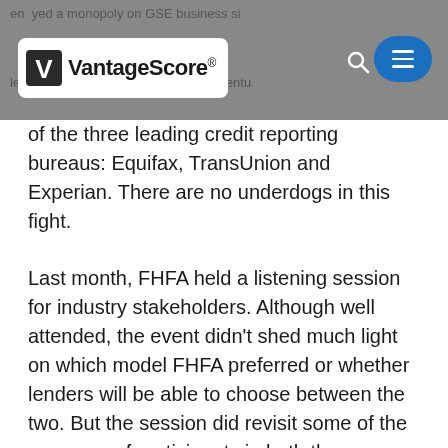enjoyed a monopoly on GSE business since at least 2004, or VantageScore, a joint venture [VantageScore logo with navigation]
of the three leading credit reporting bureaus: Equifax, TransUnion and Experian. There are no underdogs in this fight.
Last month, FHFA held a listening session for industry stakeholders. Although well attended, the event didn't shed much light on which model FHFA preferred or whether lenders will be able to choose between the two. But the session did revisit some of the concerns of participants in both the mortgage